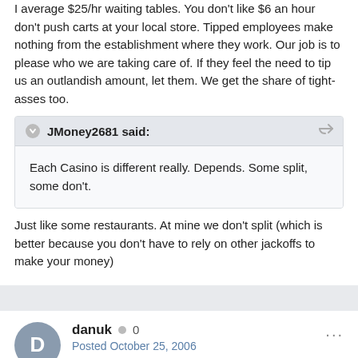I average $25/hr waiting tables. You don't like $6 an hour don't push carts at your local store. Tipped employees make nothing from the establishment where they work. Our job is to please who we are taking care of. If they feel the need to tip us an outlandish amount, let them. We get the share of tight-asses too.
JMoney2681 said:
Each Casino is different really. Depends. Some split, some don't.
Just like some restaurants. At mine we don't split (which is better because you don't have to rely on other jackoffs to make your money)
danuk  ● 0
Posted October 25, 2006
surely if the casinos are making so much they should just pay more to the dealers and waitresses and not rely on their